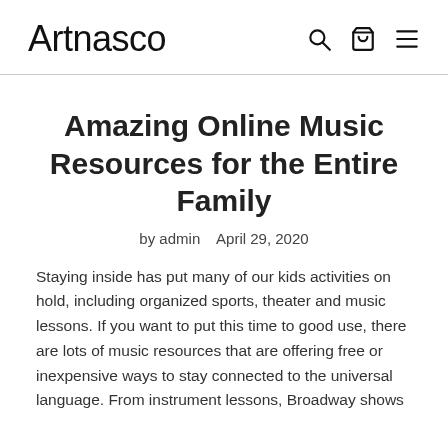Artnasco
Amazing Online Music Resources for the Entire Family
by admin   April 29, 2020
Staying inside has put many of our kids activities on hold, including organized sports, theater and music lessons. If you want to put this time to good use, there are lots of music resources that are offering free or inexpensive ways to stay connected to the universal language. From instrument lessons, Broadway shows